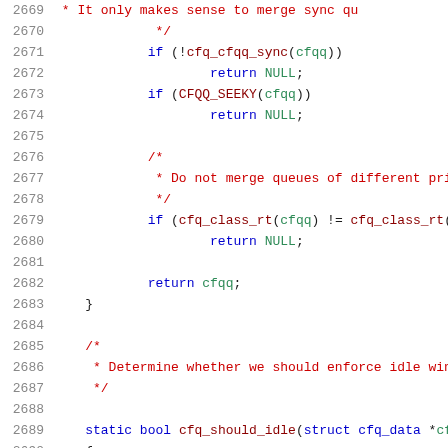[Figure (screenshot): Source code listing in a code editor showing C code lines 2669-2690. The code contains comment blocks (in red), keywords (in blue), function calls (in dark red), and identifiers (in green) on a white background with gray line numbers.]